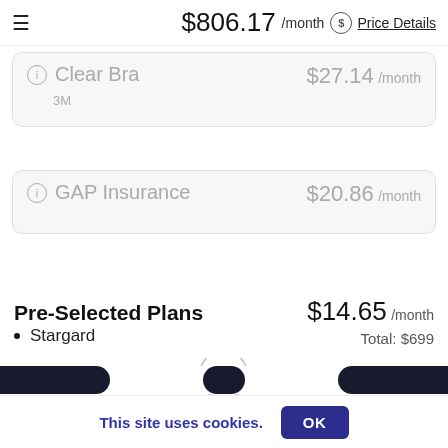$806.17 /month Price Details
Clear Bra
3M
$27.14 /month
GAP Insurance
$20.86 /month
Pre-Selected Plans
$14.65 /month
Total: $699
Stargard
Loading Plans...
This site uses cookies.